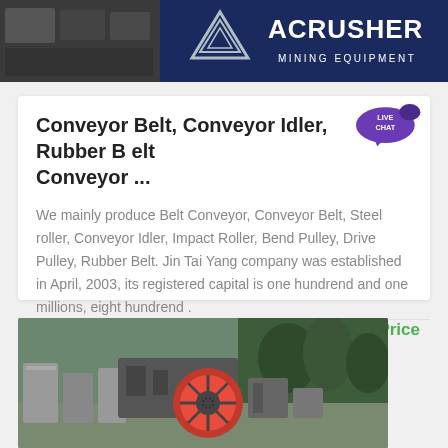[Figure (logo): ACrusher Mining Equipment banner with logo triangle and company name on dark blue background, with a photo on the left side]
Conveyor Belt, Conveyor Idler, Rubber Belt Conveyor ...
We mainly produce Belt Conveyor, Conveyor Belt, Steel roller, Conveyor Idler, Impact Roller, Bend Pulley, Drive Pulley, Rubber Belt. Jin Tai Yang company was established in April, 2003, its registered capital is one hundrend and one millions, eight hundrend .
Get Price
[Figure (photo): Outdoor photo of heavy mining/crushing machinery with red wheel components, concrete blocks, and trees in the background]